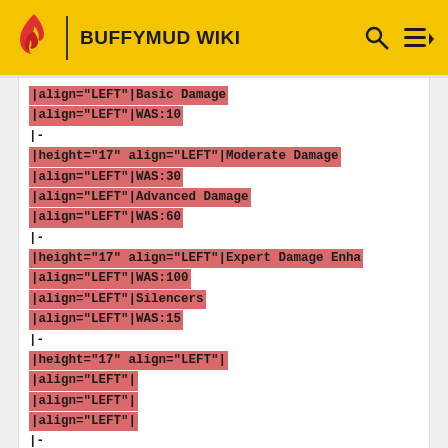BUFFYMUD WIKI
|align="LEFT"|Basic Damage
|align="LEFT"|WAS:10
|-
|height="17" align="LEFT"|Moderate Damage
|align="LEFT"|WAS:30
|align="LEFT"|Advanced Damage
|align="LEFT"|WAS:60
|-
|height="17" align="LEFT"|Expert Damage Enha
|align="LEFT"|WAS:100
|align="LEFT"|Silencers
|align="LEFT"|WAS:15
|-
|height="17" align="LEFT"|
|align="LEFT"|
|align="LEFT"|
|align="LEFT"|
|-
|height="17" align="LEFT"|Weapon Skills: